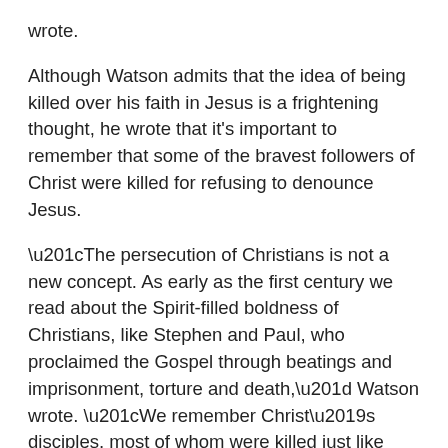wrote.
Although Watson admits that the idea of being killed over his faith in Jesus is a frightening thought, he wrote that it's important to remember that some of the bravest followers of Christ were killed for refusing to denounce Jesus.
“The persecution of Christians is not a new concept. As early as the first century we read about the Spirit-filled boldness of Christians, like Stephen and Paul, who proclaimed the Gospel through beatings and imprisonment, torture and death,” Watson wrote. “We remember Christ’s disciples, most of whom were killed just like their master. Roman emperors like Nero executed Christians in the most ghastly ways, using them as torches to light the evening sky.”